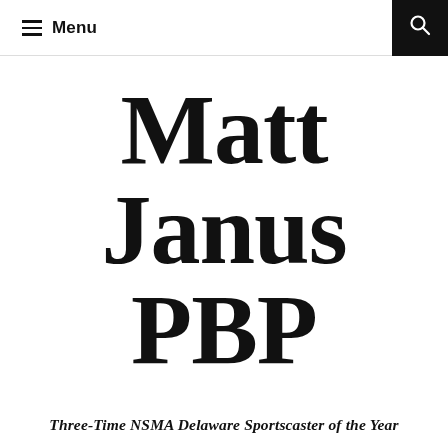Menu
Matt Janus PBP
Three-Time NSMA Delaware Sportscaster of the Year